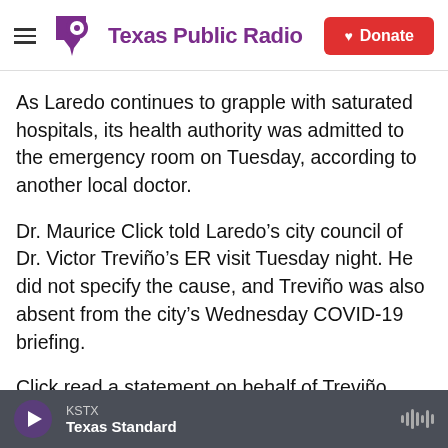Texas Public Radio | Donate
As Laredo continues to grapple with saturated hospitals, its health authority was admitted to the emergency room on Tuesday, according to another local doctor.
Dr. Maurice Click told Laredo’s city council of Dr. Victor Treviño’s ER visit Tuesday night. He did not specify the cause, and Treviño was also absent from the city’s Wednesday COVID-19 briefing.
Click read a statement on behalf of Treviño emphasizing that the spread of the virus is “outpacing our ability to create more space.”
KSTX | Texas Standard